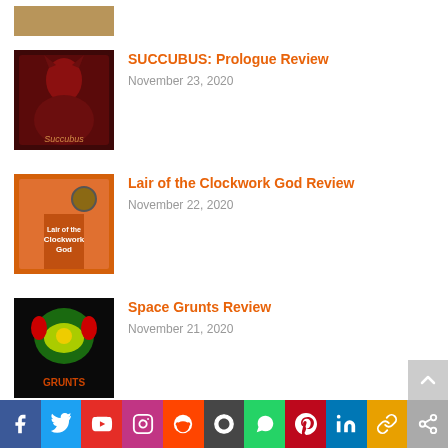[Figure (photo): Partial top image thumbnail (cropped), tan/brown color]
SUCCUBUS: Prologue Review
November 23, 2020
Lair of the Clockwork God Review
November 22, 2020
Space Grunts Review
November 21, 2020
Marble Age: Remastered Review
November 21, 2020
Facebook Twitter YouTube Instagram Reddit WordPress WhatsApp Pinterest LinkedIn Copy More